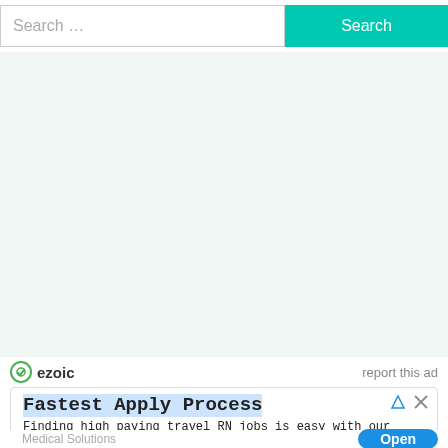[Figure (screenshot): Search bar with placeholder text 'Search …' and a teal 'Search' button]
[Figure (screenshot): Large light green/teal advertisement background area (empty ad slot)]
ezoic   report this ad
[Figure (screenshot): Ad panel: 'Fastest Apply Process' — Finding high paying travel RN jobs is easy with our traveler app. Medical Solutions. Open button.]